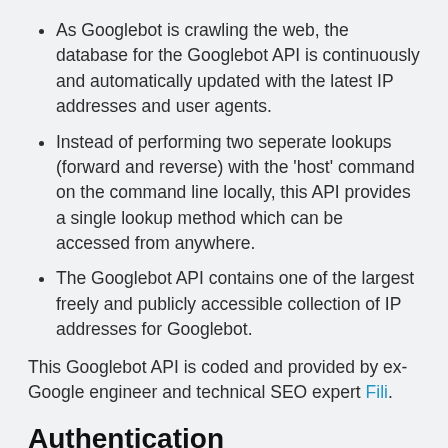As Googlebot is crawling the web, the database for the Googlebot API is continuously and automatically updated with the latest IP addresses and user agents.
Instead of performing two seperate lookups (forward and reverse) with the 'host' command on the command line locally, this API provides a single lookup method which can be accessed from anywhere.
The Googlebot API contains one of the largest freely and publicly accessible collection of IP addresses for Googlebot.
This Googlebot API is coded and provided by ex-Google engineer and technical SEO expert Fili.
Authentication
This Googlebot API is free of charge and can be